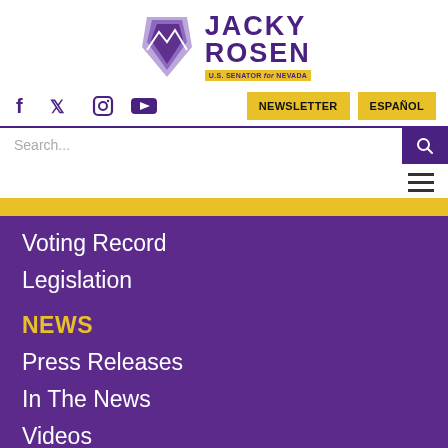[Figure (logo): Jacky Rosen U.S. Senator for Nevada logo with Nevada state outline in purple and mountains]
NEWSLETTER   ESPAÑOL
Search...
Voting Record
Legislation
NEWS
Press Releases
In The News
Videos